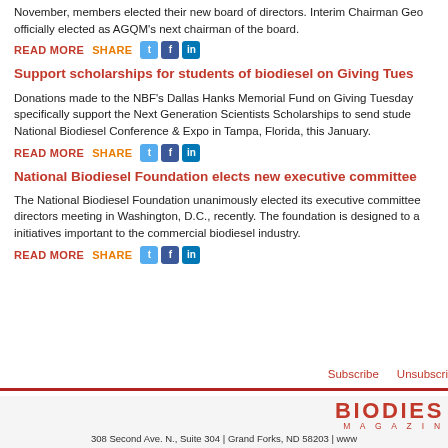November, members elected their new board of directors. Interim Chairman Geo officially elected as AGQM's next chairman of the board.
READ MORE  SHARE [Twitter] [Facebook] [LinkedIn]
Support scholarships for students of biodiesel on Giving Tues
Donations made to the NBF's Dallas Hanks Memorial Fund on Giving Tuesday specifically support the Next Generation Scientists Scholarships to send stude National Biodiesel Conference & Expo in Tampa, Florida, this January.
READ MORE  SHARE [Twitter] [Facebook] [LinkedIn]
National Biodiesel Foundation elects new executive committee
The National Biodiesel Foundation unanimously elected its executive committee directors meeting in Washington, D.C., recently. The foundation is designed to a initiatives important to the commercial biodiesel industry.
READ MORE  SHARE [Twitter] [Facebook] [LinkedIn]
Subscribe   Unsubscri
308 Second Ave. N., Suite 304 | Grand Forks, ND 58203 | www
[Figure (logo): Biodiesel Magazine logo with red bold text and magazine subtitle]